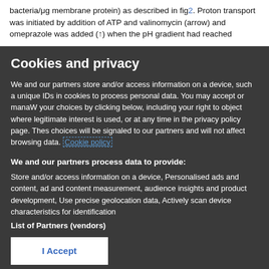bacteria/μg membrane protein) as described in fig2. Proton transport was initiated by addition of ATP and valinomycin (arrow) and omeprazole was added (↑) when the pH gradient had reached
Cookies and privacy
We and our partners store and/or access information on a device, such as unique IDs in cookies to process personal data. You may accept or manage your choices by clicking below, including your right to object where legitimate interest is used, or at any time in the privacy policy page. These choices will be signaled to our partners and will not affect browsing data. Cookie policy
We and our partners process data to provide:
Store and/or access information on a device, Personalised ads and content, ad and content measurement, audience insights and product development, Use precise geolocation data, Actively scan device characteristics for identification
List of Partners (vendors)
I Accept